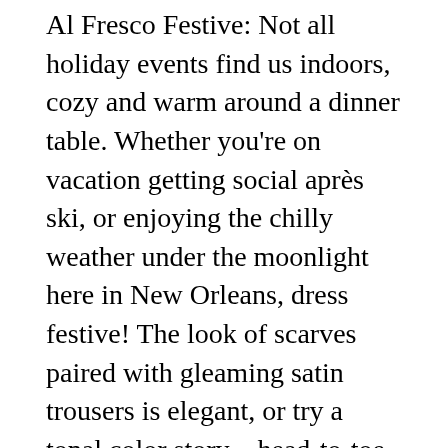Al Fresco Festive: Not all holiday events find us indoors, cozy and warm around a dinner table. Whether you're on vacation getting social après ski, or enjoying the chilly weather under the moonlight here in New Orleans, dress festive! The look of scarves paired with gleaming satin trousers is elegant, or try a tonal color story – head-to-toe in ivory, camel, brown, grey or black – for an effortlessly chic look.
Trend Tip: You may feel a rosy glow from spending time outdoors, but the cold and the wind can really do a number on your skin. Take advantage of special holiday gift